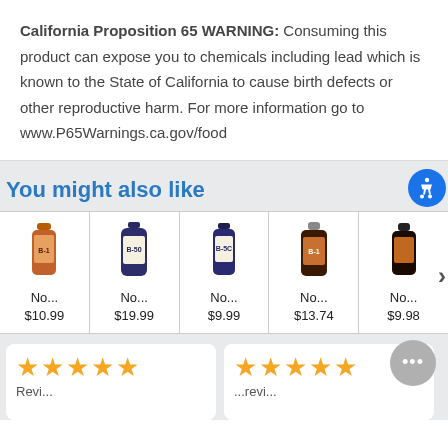California Proposition 65 WARNING: Consuming this product can expose you to chemicals including lead which is known to the State of California to cause birth defects or other reproductive harm. For more information go to www.P65Warnings.ca.gov/food
You might also like
[Figure (other): Row of 5 supplement product bottles with names truncated as 'No...' and prices: $10.99, $19.99, $9.99, $13.74, $9.98]
[Figure (other): Two review cards each showing 5 orange stars and partial review text]